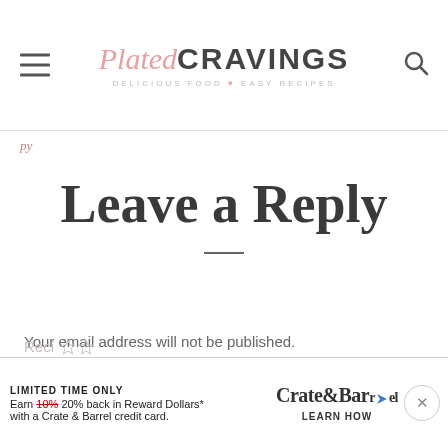Plated CRAVINGS — DELICIOUS FOOD ♥ EASY RECIPES
py
Leave a Reply
Your email address will not be published. Required fields are marked *
[Figure (screenshot): Crate & Barrel advertisement banner at the bottom of the page: LIMITED TIME ONLY — Earn 10% 20% back in Reward Dollars* with a Crate & Barrel credit card. LEARN HOW]